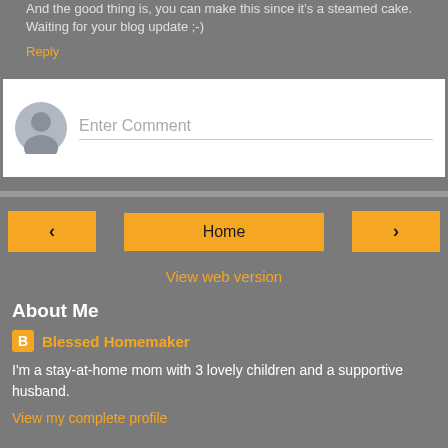And the good thing is, you can make this since it's a steamed cake. Waiting for your blog update ;-)
Reply
[Figure (screenshot): Comment entry box with default user avatar and 'Enter Comment' placeholder text]
[Figure (screenshot): Navigation bar with left arrow button, Home button, and right arrow button]
View web version
About Me
Blessed Homemaker
I'm a stay-at-home mom with 3 lovely children and a supportive husband.
View my complete profile
Powered by Blogger.